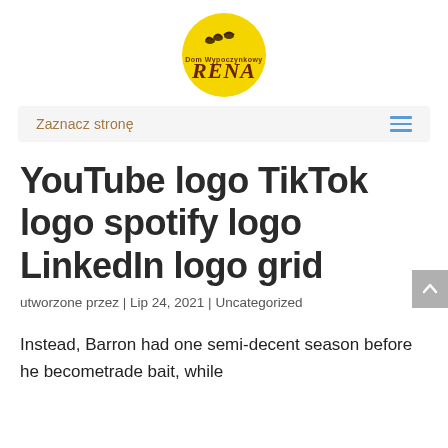[Figure (logo): Dom Wypoczynkowy RENA logo — yellow circle with birds silhouette and brown text 'Dom Wypoczynkowy' above large 'RENA']
Zaznacz stronę
YouTube logo TikTok logo spotify logo LinkedIn logo grid
utworzone przez | Lip 24, 2021 | Uncategorized
Instead, Barron had one semi-decent season before he becometrade bait, while